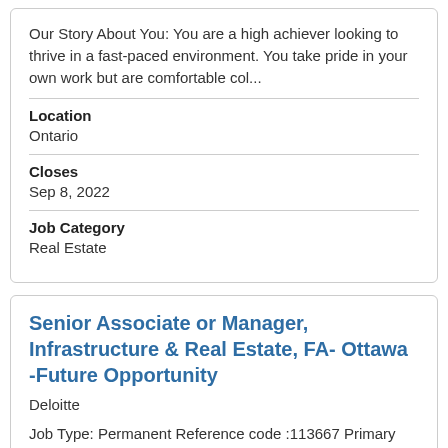Our Story About You: You are a high achiever looking to thrive in a fast-paced environment. You take pride in your own work but are comfortable col...
Location
Ontario
Closes
Sep 8, 2022
Job Category
Real Estate
Senior Associate or Manager, Infrastructure & Real Estate, FA- Ottawa -Future Opportunity
Deloitte
Job Type: Permanent Reference code :113667 Primary Location: Multiple Locations, Ontario, Canada All Available Locations: Ottawa Our Purpose At Del...